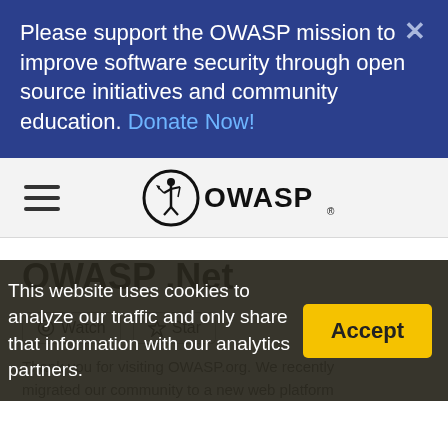Please support the OWASP mission to improve software security through open source initiatives and community education. Donate Now!
[Figure (logo): OWASP logo — circular icon with a stylized archer figure and 'OWASP' wordmark with registered trademark symbol]
OWASP .Net
Watch  Star
This website uses cookies to analyze our traffic and only share that information with our analytics partners.
Thank you for visiting OWASP.org. We recently migrated our community to a new web platform